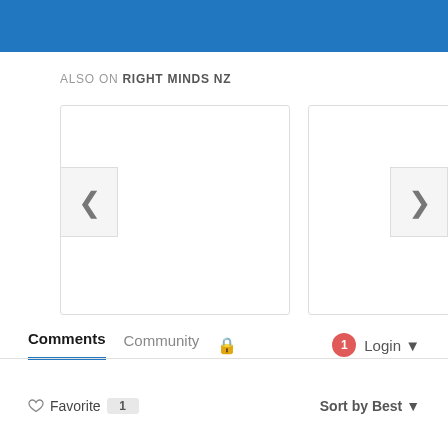[Figure (screenshot): Blue banner at top of page]
ALSO ON RIGHT MINDS NZ
[Figure (screenshot): Two content cards with left and right navigation arrows]
Comments  Community  🔒  1  Login
♡ Favorite  1  Sort by Best